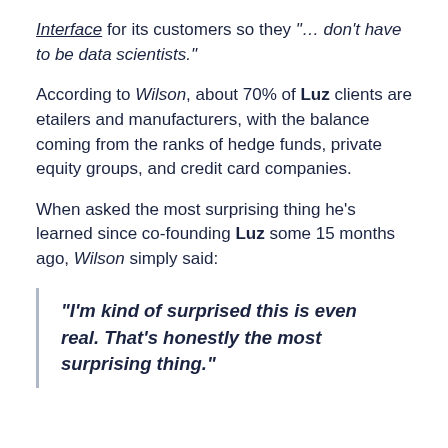Interface for its customers so they "... don't have to be data scientists."
According to Wilson, about 70% of Luz clients are etailers and manufacturers, with the balance coming from the ranks of hedge funds, private equity groups, and credit card companies.
When asked the most surprising thing he's learned since co-founding Luz some 15 months ago, Wilson simply said:
"I'm kind of surprised this is even real. That's honestly the most surprising thing."